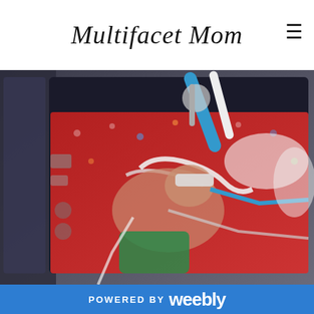Multifacet Mom
[Figure (photo): A premature newborn baby in a NICU incubator, surrounded by medical tubes and equipment, lying on a red patterned blanket with colorful hearts and snowman designs.]
POWERED BY weebly